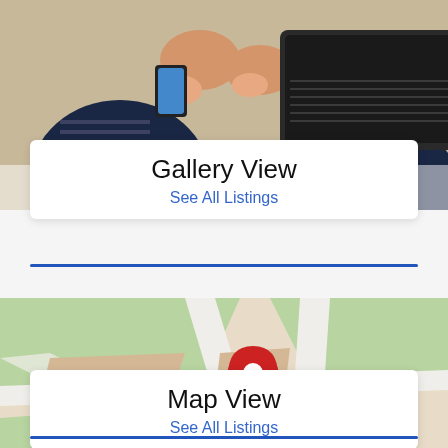[Figure (photo): Two people working on a laptop, viewed from above, casual setting]
Gallery View
See All Listings
[Figure (map): Street map with green blocks, beige areas, white roads, and a red map pin marker in the center]
Map View
See All Listings